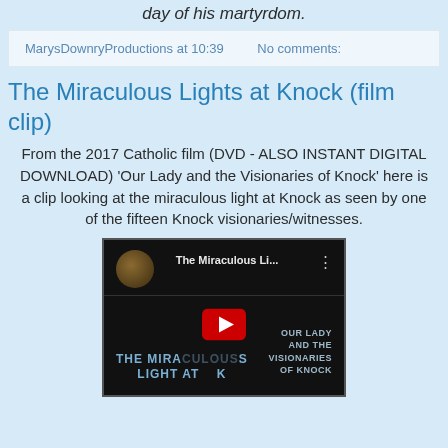day of his martyrdom.
MarysDownryProductions at 10:39    No comments:
The Miraculous Lights at Knock (film clip)
From the 2017 Catholic film (DVD - ALSO INSTANT DIGITAL DOWNLOAD) 'Our Lady and the Visionaries of Knock' here is a clip looking at the miraculous light at Knock as seen by one of the fifteen Knock visionaries/witnesses.
[Figure (screenshot): YouTube video thumbnail showing 'The Miraculous Li...' with a play button, channel avatar, and text overlay reading 'THE MIRACULOUS LIGHT AT KNOCK' and 'OUR LADY AND THE VISIONARIES OF KNOCK']